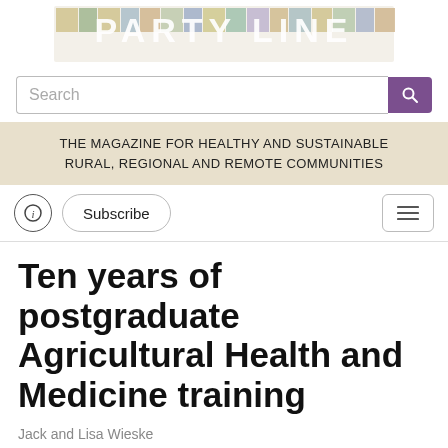[Figure (logo): Party Line magazine logo — colorful mosaic/patchwork style text spelling PARTY LINE on a light background]
[Figure (screenshot): Search bar with purple search button]
THE MAGAZINE FOR HEALTHY AND SUSTAINABLE RURAL, REGIONAL AND REMOTE COMMUNITIES
[Figure (screenshot): Navigation bar with info icon button, Subscribe button, and hamburger menu button]
Ten years of postgraduate Agricultural Health and Medicine training
Jack and Lisa Wieske